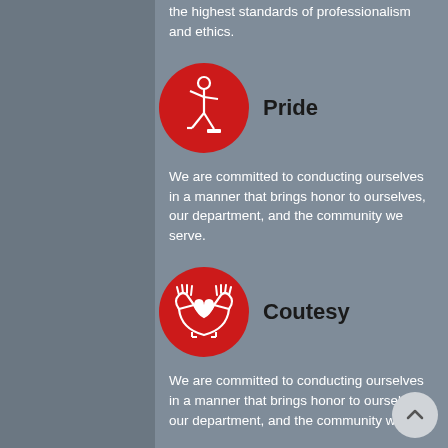the highest standards of professionalism and ethics.
[Figure (illustration): Red circle with white stick figure person walking/striding icon]
Pride
We are committed to conducting ourselves in a manner that brings honor to ourselves, our department, and the community we serve.
[Figure (illustration): Red circle with white hands holding a heart icon]
Coutesy
We are committed to conducting ourselves in a manner that brings honor to ourselves, our department, and the community we